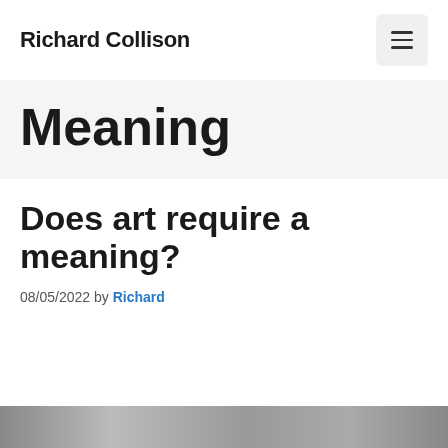Richard Collison
Meaning
Does art require a meaning?
08/05/2022 by Richard
[Figure (photo): Partial view of a grayscale image at the bottom of the page]